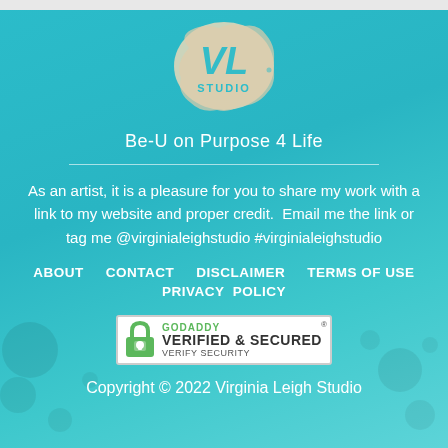[Figure (logo): VL Studio logo — ink splash shape with stylized 'VL' letters and 'STUDIO' text beneath]
Be-U on Purpose 4 Life
As an artist, it is a pleasure for you to share my work with a link to my website and proper credit.  Email me the link or tag me @virginialeighstudio #virginialeighstudio
ABOUT   CONTACT   DISCLAIMER   TERMS OF USE
PRIVACY  POLICY
[Figure (logo): GoDaddy Verified & Secured badge with lock icon]
Copyright © 2022 Virginia Leigh Studio